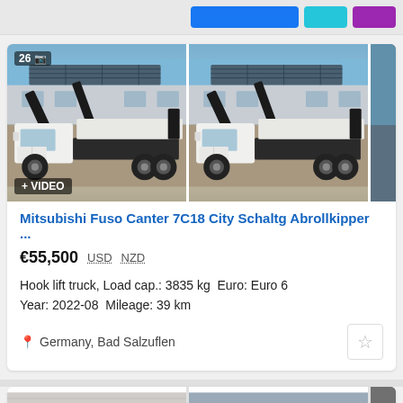[Figure (photo): Two photos of a white Mitsubishi Fuso Canter 7C18 hook lift truck, shown side by side. Left image has a '26' photo count badge and a camera icon, plus a '+ VIDEO' badge. Solar panels visible on roof in background.]
Mitsubishi Fuso Canter 7C18 City Schaltg Abrollkipper ...
€55,500   USD   NZD
Hook lift truck, Load cap.: 3835 kg  Euro: Euro 6
Year: 2022-08  Mileage: 39 km
Germany, Bad Salzuflen
[Figure (photo): Two partially visible photos of trucks at bottom of page — left shows an orange truck, right shows a yellow/orange truck cab.]